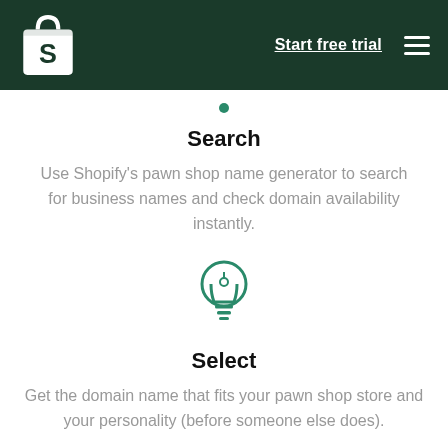Shopify logo | Start free trial | Menu
Search
Use Shopify's pawn shop name generator to search for business names and check domain availability instantly.
[Figure (illustration): Light bulb icon in teal/green outline style]
Select
Get the domain name that fits your pawn shop store and your personality (before someone else does).
[Figure (illustration): Partially visible icon at the bottom of the page, teal/green outline style]